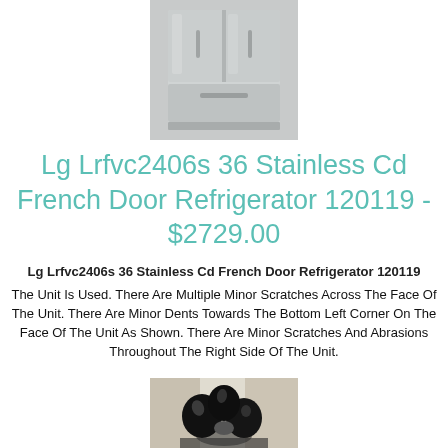[Figure (photo): Photo of a stainless steel LG French door refrigerator, cropped showing bottom portion]
Lg Lrfvc2406s 36 Stainless Cd French Door Refrigerator 120119 - $2729.00
Lg Lrfvc2406s 36 Stainless Cd French Door Refrigerator 120119
The Unit Is Used. There Are Multiple Minor Scratches Across The Face Of The Unit. There Are Minor Dents Towards The Bottom Left Corner On The Face Of The Unit As Shown. There Are Minor Scratches And Abrasions Throughout The Right Side Of The Unit.
[Figure (photo): Photo of a dark glossy abstract sculpture resembling a cluster of organic rounded shapes with a hole, displayed on a surface]